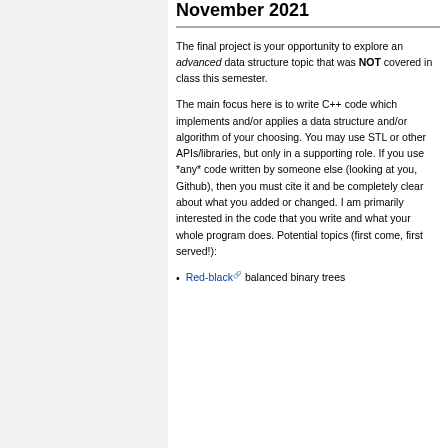November 2021
The final project is your opportunity to explore an advanced data structure topic that was NOT covered in class this semester.
The main focus here is to write C++ code which implements and/or applies a data structure and/or algorithm of your choosing. You may use STL or other APIs/libraries, but only in a supporting role. If you use *any* code written by someone else (looking at you, Github), then you must cite it and be completely clear about what you added or changed. I am primarily interested in the code that you write and what your whole program does. Potential topics (first come, first served!):
Red-black balanced binary trees